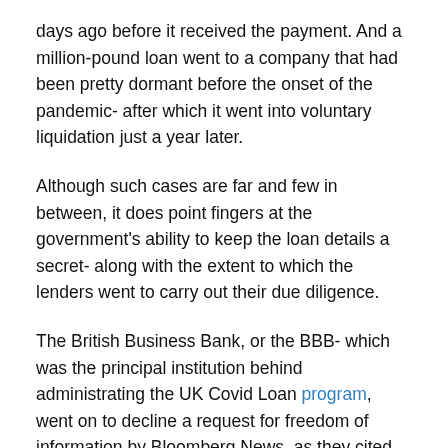days ago before it received the payment. And a million-pound loan went to a company that had been pretty dormant before the onset of the pandemic- after which it went into voluntary liquidation just a year later.
Although such cases are far and few in between, it does point fingers at the government's ability to keep the loan details a secret- along with the extent to which the lenders went to carry out their due diligence.
The British Business Bank, or the BBB- which was the principal institution behind administrating the UK Covid Loan program, went on to decline a request for freedom of information by Bloomberg News, as they cited the need to protect the commercial interests of the companies- but, before leaving the EU, the country had to share the identities of the borrowers under the rules upheld by the EU.